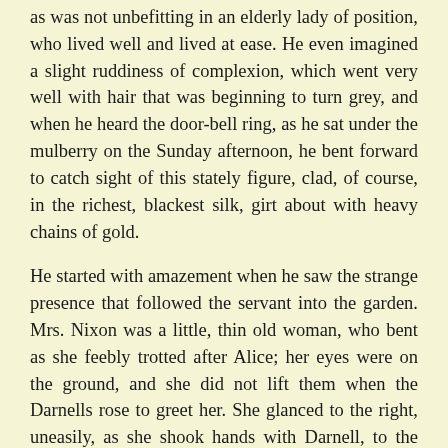as was not unbefitting in an elderly lady of position, who lived well and lived at ease. He even imagined a slight ruddiness of complexion, which went very well with hair that was beginning to turn grey, and when he heard the door-bell ring, as he sat under the mulberry on the Sunday afternoon, he bent forward to catch sight of this stately figure, clad, of course, in the richest, blackest silk, girt about with heavy chains of gold.
He started with amazement when he saw the strange presence that followed the servant into the garden. Mrs. Nixon was a little, thin old woman, who bent as she feebly trotted after Alice; her eyes were on the ground, and she did not lift them when the Darnells rose to greet her. She glanced to the right, uneasily, as she shook hands with Darnell, to the left when Mary kissed her, and when she was placed on the garden seat with a cushion at her back, she looked away at the back of the houses in the next street. She was dressed in black, it was true, but even Darnell could see that her gown was old and shabby, that the fur trimming of her cape and the fur boa